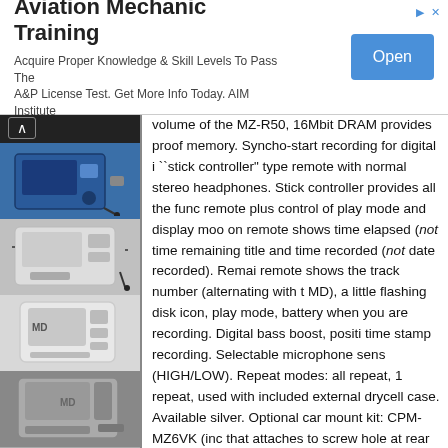[Figure (infographic): Advertisement banner for Aviation Mechanic Training by AIM Institute with an Open button]
[Figure (photo): Column of MiniDisc recorder device product photos on dark background]
volume of the MZ-R50, 16Mbit DRAM provides proof memory. Syncho-start recording for digital i ``stick controller" type remote with normal stereo headphones. Stick controller provides all the func remote plus control of play mode and display moo on remote shows time elapsed (not time remaining title and time recorded (not date recorded). Remai remote shows the track number (alternating with t MD), a little flashing disk icon, play mode, battery when you are recording. Digital bass boost, positi time stamp recording. Selectable microphone sens (HIGH/LOW). Repeat modes: all repeat, 1 repeat, used with included external drycell case. Available silver. Optional car mount kit: CPM-MZ6VK (inc that attaches to screw hole at rear of MZ-R50, the snaps in and out of a base mount that one attaches included velcro strap). Line outut rating: 194mV, Considered by many to be the pinnacle of Sony's development in terms of ruggedness and usability presence of END-SEARCH].